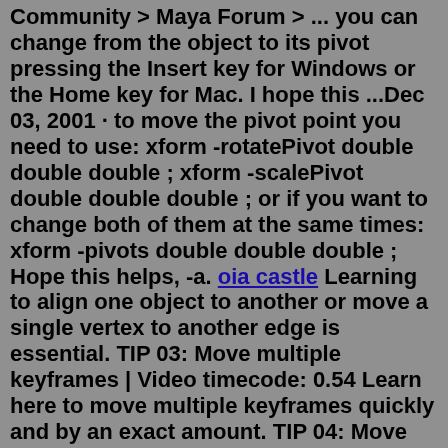Community > Maya Forum > ... you can change from the object to its pivot pressing the Insert key for Windows or the Home key for Mac. I hope this ...Dec 03, 2001 · to move the pivot point you need to use: xform -rotatePivot double double double ; xform -scalePivot double double double ; or if you want to change both of them at the same times: xform -pivots double double double ; Hope this helps, -a. oia castle Learning to align one object to another or move a single vertex to another edge is essential. TIP 03: Move multiple keyframes | Video timecode: 0.54 Learn here to move multiple keyframes quickly and by an exact amount. TIP 04: Move the pivot point | Video timecode: 1.15 Learn here to move multiple keyframes quickly and by an exact amountJarred Love Shows Two Methods for Creating a Movable Pivot for Animating in Maya. A movable pivot. A dynamic pivot. An animate-able pivot. What ever the name you use, it is a vital component to both character rigging and mechanical rigging and animation in Maya.Rigging artist and Technical